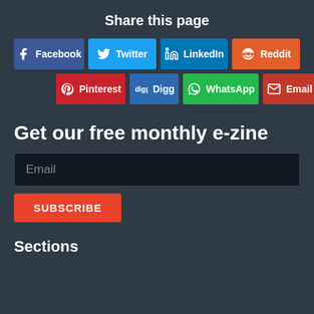Share this page
[Figure (infographic): Row of social share buttons: Facebook, Twitter, LinkedIn, Reddit in first row; Pinterest, Digg, WhatsApp, Email in second row]
Get our free monthly e-zine
Email (input field placeholder)
SUBSCRIBE
Sections